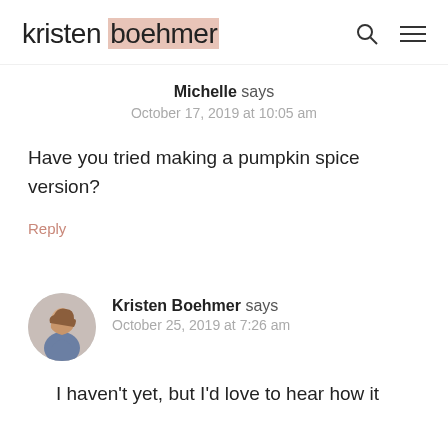kristen boehmer
Michelle says
October 17, 2019 at 10:05 am
Have you tried making a pumpkin spice version?
Reply
Kristen Boehmer says
October 25, 2019 at 7:26 am
I haven't yet, but I'd love to hear how it